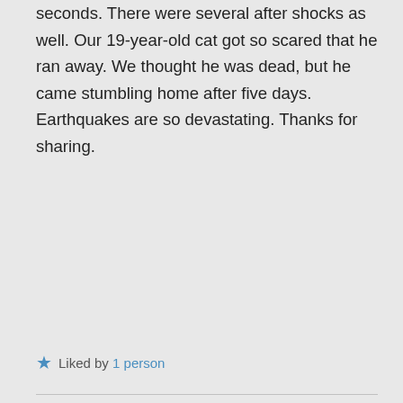seconds. There were several after shocks as well. Our 19-year-old cat got so scared that he ran away. We thought he was dead, but he came stumbling home after five days. Earthquakes are so devastating. Thanks for sharing.
Liked by 1 person
TanGental on Dec 11, 2020 at 8:02 am
In a month of some of the best experiences I've had in the company of my son, this was very sobering.